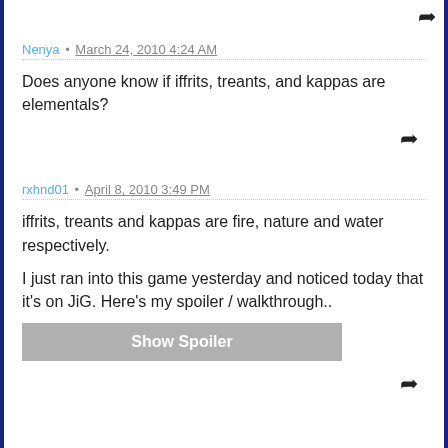Nenya • March 24, 2010 4:24 AM
Does anyone know if iffrits, treants, and kappas are elementals?
rxhnd01 • April 8, 2010 3:49 PM
iffrits, treants and kappas are fire, nature and water respectively.
I just ran into this game yesterday and noticed today that it's on JiG. Here's my spoiler / walkthrough..
Show Spoiler